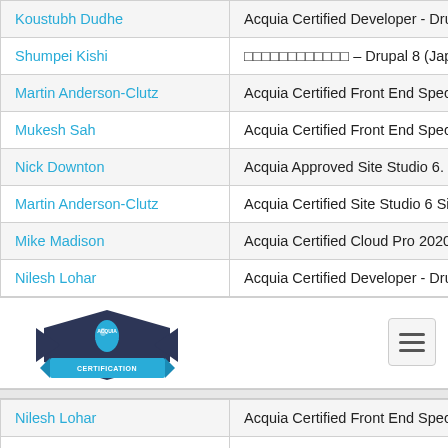| Name | Certification |
| --- | --- |
| Koustubh Dudhe | Acquia Certified Developer - Drupal 9 |
| Shumpei Kishi | □□□□□□□□□□□□ – Drupal 8 (Japanese-la… |
| Martin Anderson-Clutz | Acquia Certified Front End Specialist - Dr… |
| Mukesh Sah | Acquia Certified Front End Specialist - Dr… |
| Nick Downton | Acquia Approved Site Studio 6. Site Buil… |
| Martin Anderson-Clutz | Acquia Certified Site Studio 6 Site Builde… |
| Mike Madison | Acquia Certified Cloud Pro 2020 |
| Nilesh Lohar | Acquia Certified Developer - Drupal 7 |
[Figure (logo): Acquia Certification badge logo — dark star/shield shape with blue water-drop and CERTIFICATION banner ribbon]
| Name | Certification |
| --- | --- |
| Nilesh Lohar | Acquia Certified Front End Specialist - Dr… |
| Martin Anderson-Clutz | Acquia Approved Site Studio 6. Site Buil… |
| Mike Madison | Acquia Certified Front End Specialist - D… |